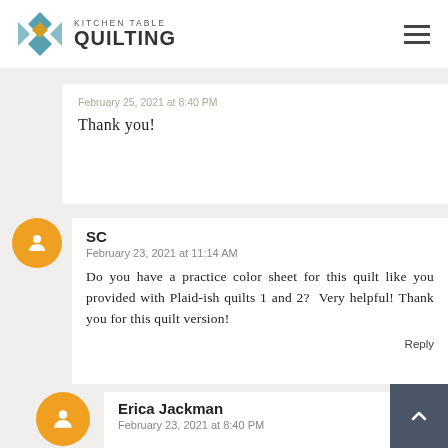Kitchen Table Quilting
February 23, 2021 at 8:40 PM
Thank you!
SC
February 23, 2021 at 11:14 AM
Do you have a practice color sheet for this quilt like you provided with Plaid-ish quilts 1 and 2? Very helpful! Thank you for this quilt version!
Reply
Erica Jackman
February 23, 2021 at 8:40 PM